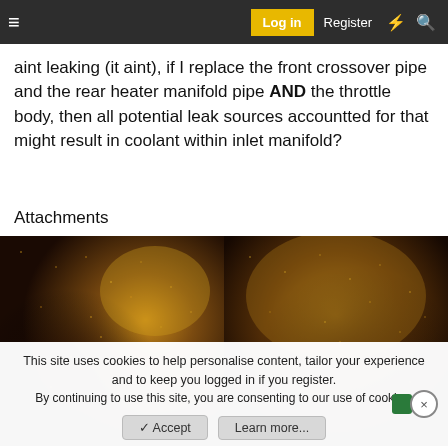≡  Log in  Register  ⚡  🔍
aint leaking (it aint), if I replace the front crossover pipe and the rear heater manifold pipe AND the throttle body, then all potential leak sources accountted for that might result in coolant within inlet manifold?
Attachments
[Figure (photo): Close-up photo of a dark, gritty, oily surface with grainy brown and black texture, possibly inside an engine component showing residue or deposits.]
[Figure (photo): Close-up photo of a dark brown rounded surface with a grainy, sparkly texture, possibly a corroded or contaminated engine part.]
This site uses cookies to help personalise content, tailor your experience and to keep you logged in if you register.
By continuing to use this site, you are consenting to our use of cookies.
✓ Accept   Learn more...